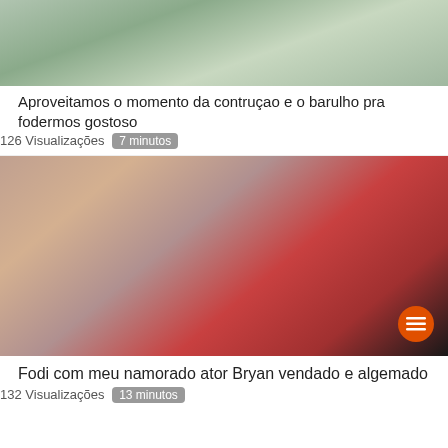[Figure (photo): Thumbnail image of a bedroom scene viewed from above]
Aproveitamos o momento da contruçao e o barulho pra fodermos gostoso
126 Visualizações  7 minutos
[Figure (photo): Thumbnail image of a blonde woman in black lingerie on a red bed]
Fodi com meu namorado ator Bryan vendado e algemado
132 Visualizações  13 minutos